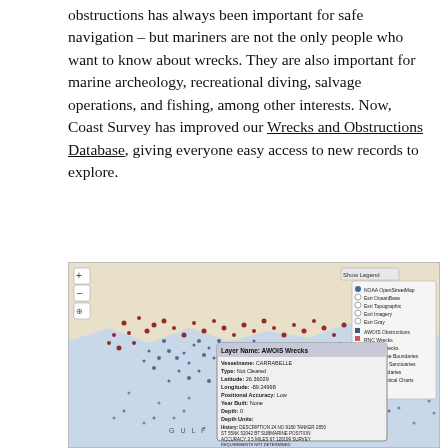obstructions has always been important for safe navigation – but mariners are not the only people who want to know about wrecks. They are also important for marine archeology, recreational diving, salvage operations, and fishing, among other interests. Now, Coast Survey has improved our Wrecks and Obstructions Database, giving everyone easy access to new records to explore.
[Figure (map): A NOAA nautical chart showing the Gulf Coast region with many wrecks and obstructions plotted as colored dots (red, blue, dark red). A popup info box shows Layer Name: AWOIS Wrecks, with details: Vesselname: CARRABELLE, Type: Not Cleared, Latitude: 26.36029, Longitude: -89.24998, Positional Accuracy: Low, Year Built: None, Depth: 0, Depth Units:, History: DESCRIPTION 24 NO 9180 TANKER 2650 ST 55NK 52042 BT SUBMARINE POSITION ACCURACY 3 5 MILES 67 120199 SURVEY REQUIREMENTS NOT DETERMINED. A legend panel on the right shows NOAA chart layers including AWOIS Obstructions, RNC Wrecks, AWOIS Wrecks, US Maritime Boundaries, US Marine Sanctuaries, ENC Boundaries, NOAA Nautical Charts.]